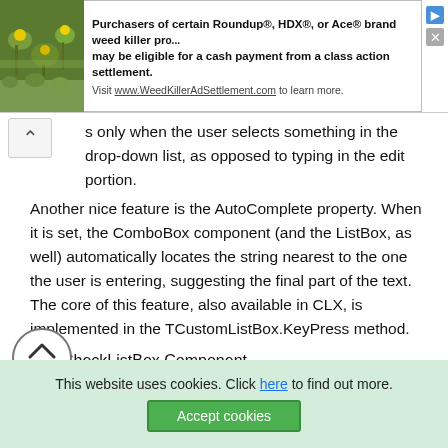[Figure (screenshot): Advertisement banner: image of yellow flowers on left, text about Roundup weed killer class action settlement on right]
s only when the user selects something in the drop-down list, as opposed to typing in the edit portion.
Another nice feature is the AutoComplete property. When it is set, the ComboBox component (and the ListBox, as well) automatically locates the string nearest to the one the user is entering, suggesting the final part of the text. The core of this feature, also available in CLX, is implemented in the TCustomListBox.KeyPress method.
The CheckListBox Component
Another extension of the list box control is represented by the CheckListBox component, a list box with each item preceded by a check box:
This website uses cookies. Click here to find out more.
Accept cookies